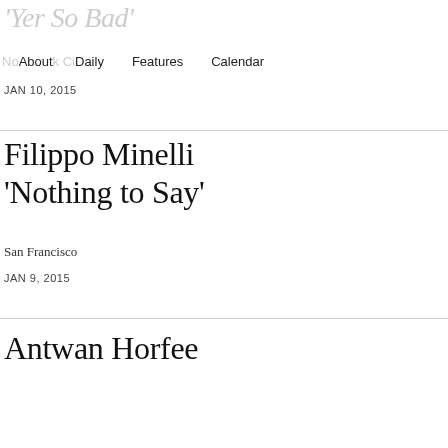'Yer So Bad'
No About k Cit Daily   Features   Calendar
JAN 10, 2015
Filippo Minelli 'Nothing to Say'
San Francisco
JAN 9, 2015
Antwan Horfee